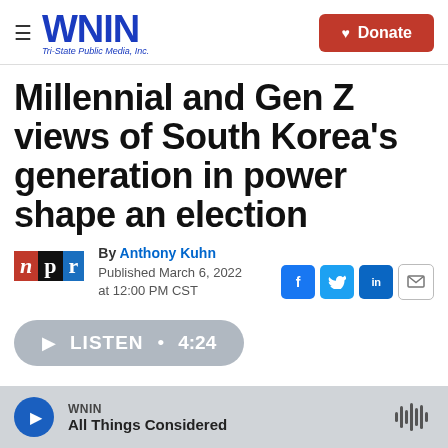WNIN Tri-State Public Media, Inc. | Donate
Millennial and Gen Z views of South Korea’s generation in power shape an election
By Anthony Kuhn
Published March 6, 2022 at 12:00 PM CST
[Figure (logo): NPR logo with three colored blocks: red N, black p, blue r]
[Figure (infographic): Social sharing buttons: Facebook (f), Twitter bird icon, LinkedIn (in), and email envelope icon]
[Figure (other): Listen audio button with play triangle, LISTEN label, dot, and 4:24 duration]
[Figure (other): Audio player bar at bottom: WNIN All Things Considered with play button and waveform icon]